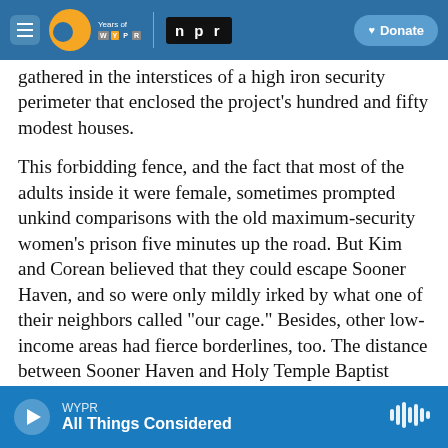WYPR 20 Years of WYPR | npr | Donate
gathered in the interstices of a high iron security perimeter that enclosed the project's hundred and fifty modest houses.
This forbidding fence, and the fact that most of the adults inside it were female, sometimes prompted unkind comparisons with the old maximum-security women's prison five minutes up the road. But Kim and Corean believed that they could escape Sooner Haven, and so were only mildly irked by what one of their neighbors called "our cage." Besides, other low-income areas had fierce borderlines, too. The distance between Sooner Haven and Holy Temple Baptist Church, along the
WYPR All Things Considered